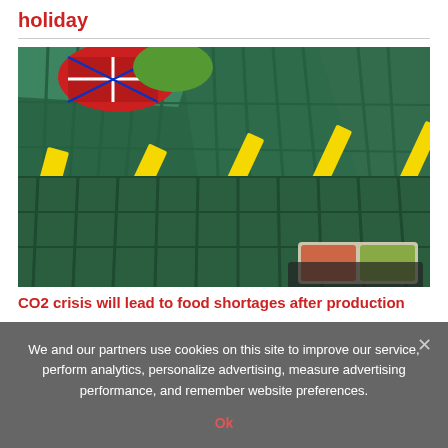holiday
[Figure (photo): Empty green supermarket baskets/crates with yellow 'Reduced to Clear' labels, and some packaged food items visible in the lower right corner.]
CO2 crisis will lead to food shortages after production
We and our partners use cookies on this site to improve our service, perform analytics, personalize advertising, measure advertising performance, and remember website preferences.
Ok